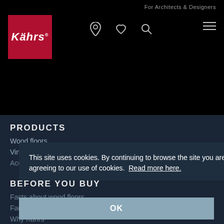For Architects & Designers
[Figure (logo): Kährs brand logo — white italic text on red square background]
[Figure (infographic): Navigation bar with location pin icon, heart icon, search icon, and hamburger menu icon]
PRODUCTS
Wood floors
Vinyl floors
Accessories
BEFORE YOU BUY
Facts about wood floors
Facts about vinyl floors
Why Kährs
This site uses cookies. By continuing to browse the site you are agreeing to our use of cookies.  Read more here.
OK